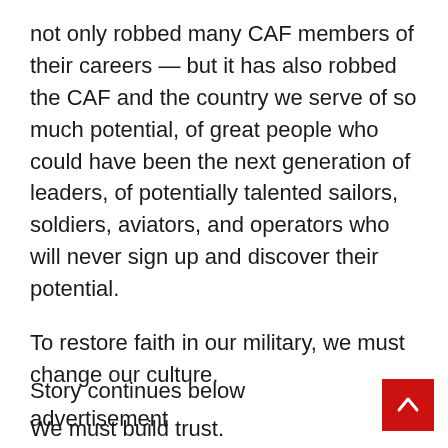not only robbed many CAF members of their careers — but it has also robbed the CAF and the country we serve of so much potential, of great people who could have been the next generation of leaders, of potentially talented sailors, soldiers, aviators, and operators who will never sign up and discover their potential.
To restore faith in our military, we must change our culture.
We must build trust.
Story continues below advertisement